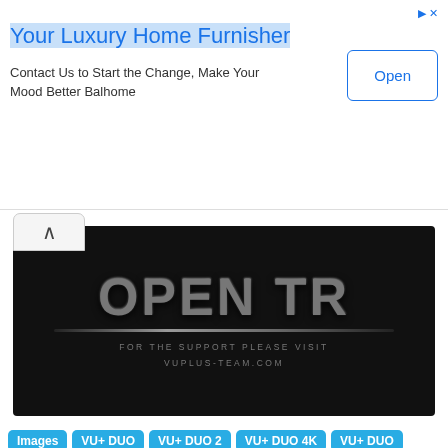[Figure (other): Advertisement banner for Balhome luxury home furnisher with title, subtitle and Open button]
[Figure (screenshot): Dark themed image with metallic 3D text reading OPEN TR, a horizontal metallic divider line, and subtitle text FOR THE SUPPORT PLEASE VISIT VUPLUS-TEAM.COM]
Images
VU+ DUO
VU+ DUO 2
VU+ DUO 4K
VU+ DUO 4K SE
VU+ SOLO
VU+ SOLO 2
VU+ SOLO 4K
VU+ SOLO SE
VU+ ULTIMO
VU+ ULTIMO 4K
VU+ UNO
VU+ UNO 4K
VU+ UNO 4K SE
VU+ ZERO
VU+ ZERO 4K